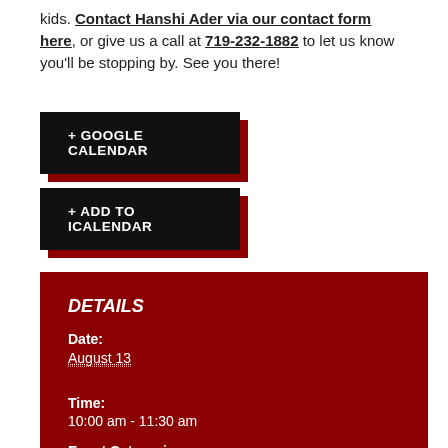kids. Contact Hanshi Ader via our contact form here, or give us a call at 719-232-1882 to let us know you'll be stopping by. See you there!
+ GOOGLE CALENDAR
+ ADD TO ICALENDAR
DETAILS
Date: August 13
Time: 10:00 am - 11:30 am
Event Categories: Class, Online Class